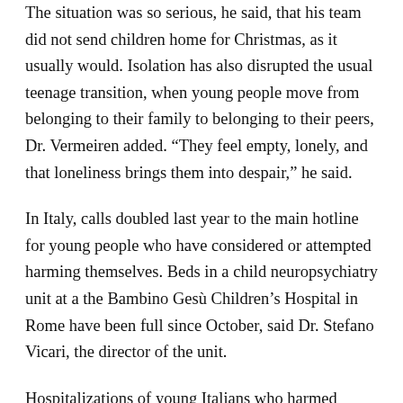The situation was so serious, he said, that his team did not send children home for Christmas, as it usually would. Isolation has also disrupted the usual teenage transition, when young people move from belonging to their family to belonging to their peers, Dr. Vermeiren added. “They feel empty, lonely, and that loneliness brings them into despair,” he said.
In Italy, calls doubled last year to the main hotline for young people who have considered or attempted harming themselves. Beds in a child neuropsychiatry unit at a the Bambino Gesù Children’s Hospital in Rome have been full since October, said Dr. Stefano Vicari, the director of the unit.
Hospitalizations of young Italians who harmed themselves or attempted suicide have increased 30